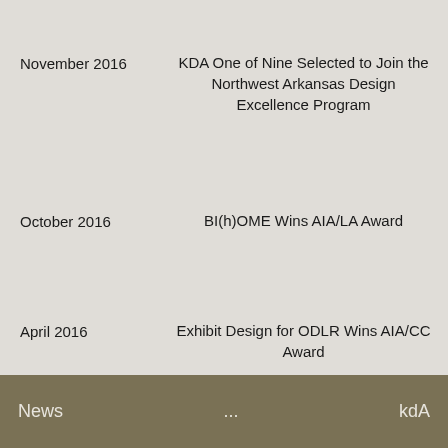November 2016 | KDA One of Nine Selected to Join the Northwest Arkansas Design Excellence Program
October 2016 | BI(h)OME Wins AIA/LA Award
April 2016 | Exhibit Design for ODLR Wins AIA/CC Award
News ... kdA